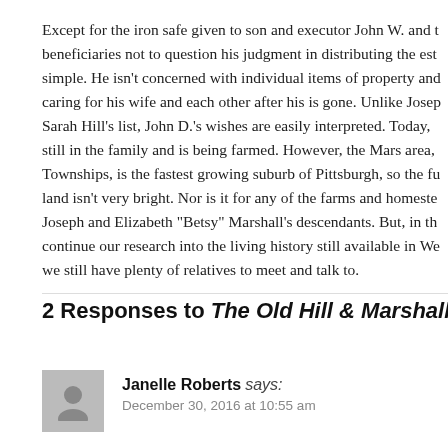Except for the iron safe given to son and executor John W. and the beneficiaries not to question his judgment in distributing the estate is simple. He isn't concerned with individual items of property and caring for his wife and each other after his is gone. Unlike Joseph Sarah Hill's list, John D.'s wishes are easily interpreted. Today, still in the family and is being farmed. However, the Mars area, Townships, is the fastest growing suburb of Pittsburgh, so the future land isn't very bright. Nor is it for any of the farms and homesteads Joseph and Elizabeth "Betsy" Marshall's descendants. But, in the continue our research into the living history still available in Western Pennsylvania we still have plenty of relatives to meet and talk to.
2 Responses to The Old Hill & Marshall Will...
Janelle Roberts says:
December 30, 2016 at 10:55 am